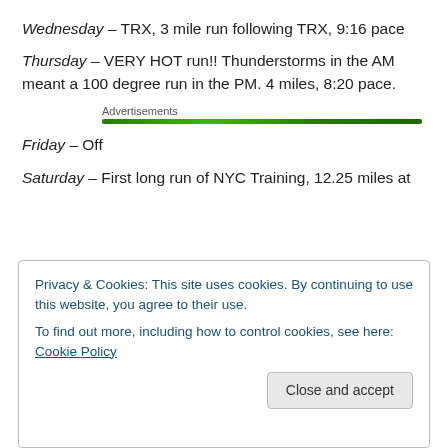Wednesday – TRX, 3 mile run following TRX, 9:16 pace
Thursday – VERY HOT run!! Thunderstorms in the AM meant a 100 degree run in the PM. 4 miles, 8:20 pace.
Advertisements
Friday – Off
Saturday – First long run of NYC Training, 12.25 miles at
Privacy & Cookies: This site uses cookies. By continuing to use this website, you agree to their use.
To find out more, including how to control cookies, see here: Cookie Policy
Total miles for week: 30 Miles